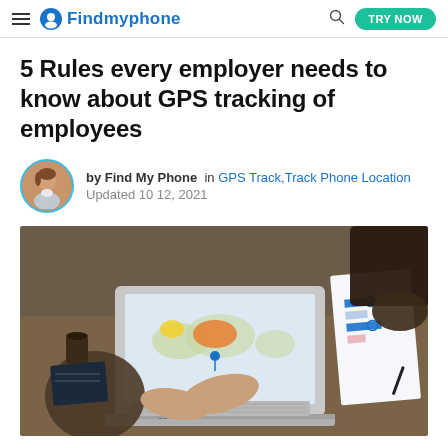Findmyphone — TRY NOW
5 Rules every employer needs to know about GPS tracking of employees
by Find My Phone  in GPS Track, Track Phone Location
Updated 10 12, 2021
[Figure (photo): Photo of business meeting: people around a table with a laptop showing a GPS map app and someone holding a chart document with bar graphs]